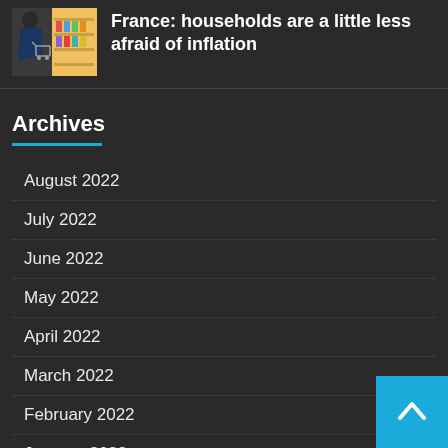[Figure (photo): Thumbnail photo of a person with a shopping cart in a store aisle]
France: households are a little less afraid of inflation
Archives
August 2022
July 2022
June 2022
May 2022
April 2022
March 2022
February 2022
January 2022